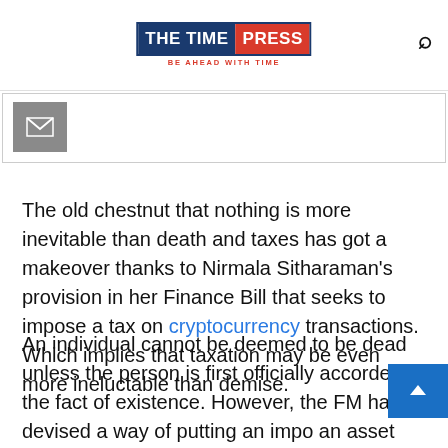THE TIME PRESS — BE AHEAD WITH TIME
[Figure (screenshot): Email subscription bar with envelope icon]
The old chestnut that nothing is more inevitable than death and taxes has got a makeover thanks to Nirmala Sitharaman's provision in her Finance Bill that seeks to impose a tax on cryptocurrency transactions. Which implies that taxation may be even more ineluctable than demise.
An individual cannot be deemed to be dead unless the person is first officially accorded the fact of existence. However, the FM has devised a way of putting an impo an asset that has yet to be legally recognised in the country, thus suggesting that taxation is even more inescapable than